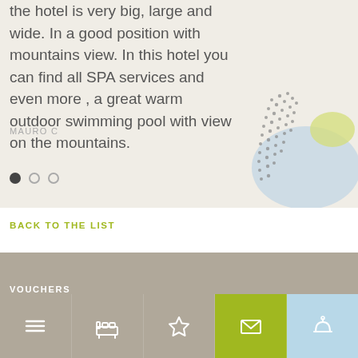the hotel is very big, large and wide. In a good position with mountains view. In this hotel you can find all SPA services and even more , a great warm outdoor swimming pool with view on the mountains.
MAURO C
[Figure (illustration): Decorative abstract blobs: dotted dark grey triangular shape overlapping a light blue rounded shape with a small yellow-green oval, positioned bottom-right of review card]
BACK TO THE LIST
VOUCHERS
[Figure (infographic): Navigation bar with 5 icons: hamburger menu, bed/room, star/favorites, mail envelope (on green background), service bell (on light blue background)]